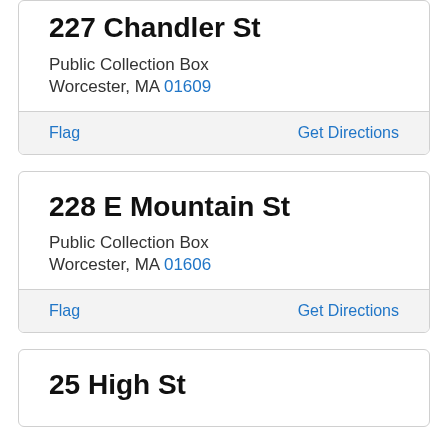227 Chandler St
Public Collection Box
Worcester, MA 01609
Flag    Get Directions
228 E Mountain St
Public Collection Box
Worcester, MA 01606
Flag    Get Directions
25 High St